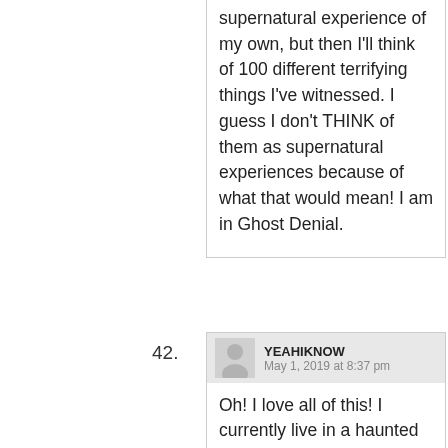supernatural experience of my own, but then I'll think of 100 different terrifying things I've witnessed. I guess I don't THINK of them as supernatural experiences because of what that would mean! I am in Ghost Denial.
42. YEAHIKNOW
May 1, 2019 at 8:37 pm
Oh! I love all of this! I currently live in a haunted house, and it doesn't bother me, but my friends sometimes get upset when they visit.
43. ZOOMZOOMS
May 1, 2019 at 9:22 pm
I lived in a house built in the 1920s. When I was watching tv in the living room I heard something moving around in the attic and then distinct footsteps. I freaked (because humans are scarier than...